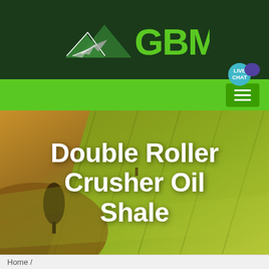[Figure (logo): GBM logo with mountain/arrow icon and green GBM text on dark green background header]
[Figure (screenshot): Green navigation bar with hamburger menu icon and Live Chat bubble]
[Figure (photo): Aerial photo of rolling agricultural fields in golden and green tones with a lone tree figure]
Double Roller Crusher Oil Shale
Home /